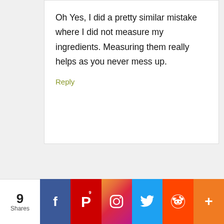Oh Yes, I did a pretty similar mistake where I did not measure my ingredients. Measuring them really helps as you never mess up.
Reply
LEAVE A REPLY
[Figure (infographic): Social share bar with share count '9 Shares' and buttons for Facebook, Pinterest, Instagram, Twitter, Reddit, and More (+)]